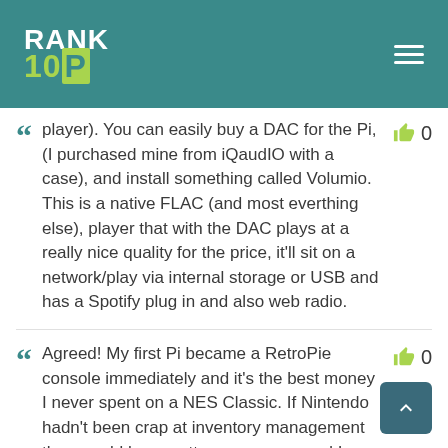RANK 10P
player). You can easily buy a DAC for the Pi, (I purchased mine from iQaudIO with a case), and install something called Volumio. This is a native FLAC (and most everthing else), player that with the DAC plays at a really nice quality for the price, it'll sit on a network/play via internal storage or USB and has a Spotify plug in and also web radio.
Agreed! My first Pi became a RetroPie console immediately and it's the best money I never spent on a NES Classic. If Nintendo hadn't been crap at inventory management they would have gotten my money and I would have been the poorer for it. As it is I'm diving back into FFVI, Secret of Mana, and all the other